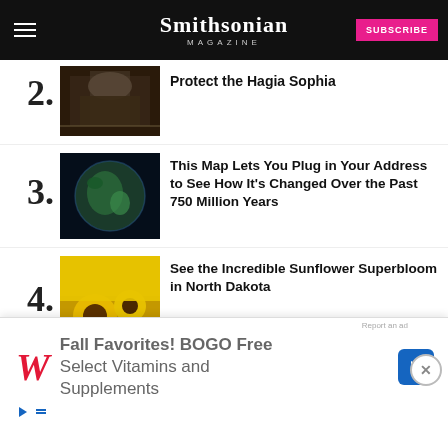Smithsonian Magazine
2. Protect the Hagia Sophia
3. This Map Lets You Plug in Your Address to See How It's Changed Over the Past 750 Million Years
4. See the Incredible Sunflower Superbloom in North Dakota
5. Drought Exposes Dinosaur Tracks in T...
[Figure (infographic): Advertisement banner: Fall Favorites! BOGO Free Select Vitamins and Supplements - Walgreens]